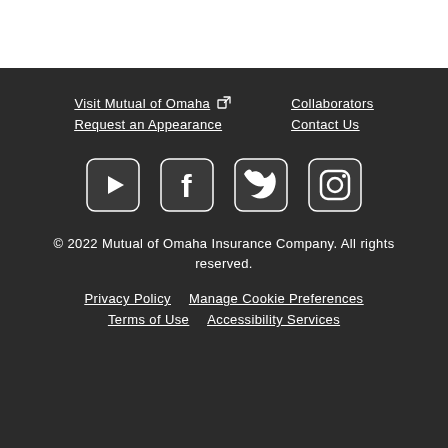Visit Mutual of Omaha [external link]   Collaborators
Request an Appearance   Contact Us
[Figure (other): Social media icons: YouTube, Facebook, Twitter, Instagram]
© 2022 Mutual of Omaha Insurance Company. All rights reserved.
Privacy Policy   Manage Cookie Preferences
Terms of Use   Accessibility Services